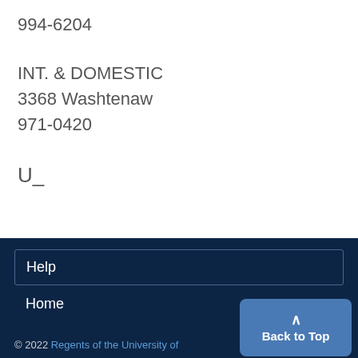994-6204
INT. & DOMESTIC
3368 Washtenaw
971-0420
U_
Help
Home
© 2022 Regents of the University of
Back to Top